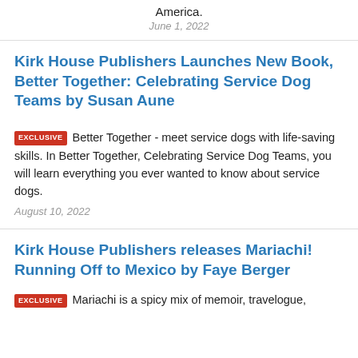America.
June 1, 2022
Kirk House Publishers Launches New Book, Better Together: Celebrating Service Dog Teams by Susan Aune
EXCLUSIVE  Better Together - meet service dogs with life-saving skills. In Better Together, Celebrating Service Dog Teams, you will learn everything you ever wanted to know about service dogs.
August 10, 2022
Kirk House Publishers releases Mariachi! Running Off to Mexico by Faye Berger
EXCLUSIVE  Mariachi is a spicy mix of memoir, travelogue,